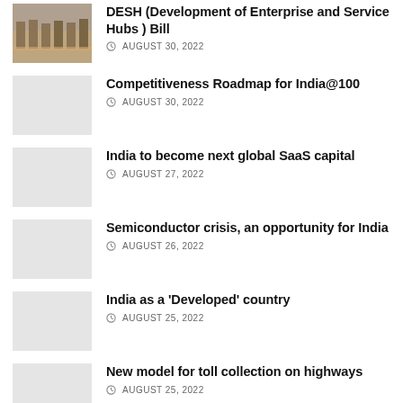DESH (Development of Enterprise and Service Hubs ) Bill — AUGUST 30, 2022
Competitiveness Roadmap for India@100 — AUGUST 30, 2022
India to become next global SaaS capital — AUGUST 27, 2022
Semiconductor crisis, an opportunity for India — AUGUST 26, 2022
India as a 'Developed' country — AUGUST 25, 2022
New model for toll collection on highways — AUGUST 25, 2022